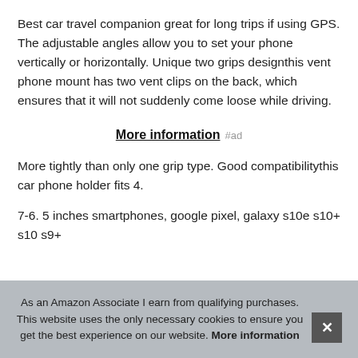Best car travel companion great for long trips if using GPS. The adjustable angles allow you to set your phone vertically or horizontally. Unique two grips designthis vent phone mount has two vent clips on the back, which ensures that it will not suddenly come loose while driving.
More information #ad
More tightly than only one grip type. Good compatibilitythis car phone holder fits 4.
7-6. 5 inches smartphones, google pixel, galaxy s10e s10+ s10 s9+
As an Amazon Associate I earn from qualifying purchases. This website uses the only necessary cookies to ensure you get the best experience on our website. More information